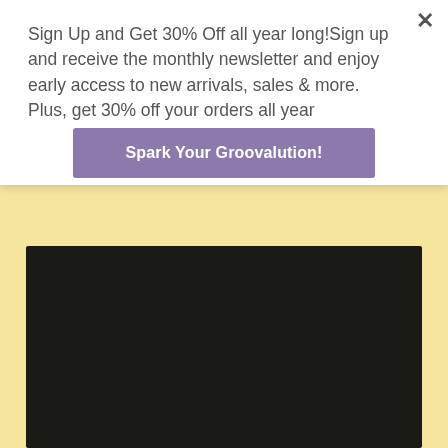Sign Up and Get 30% Off all year long!Sign up and receive the monthly newsletter and enjoy early access to new arrivals, sales & more. Plus, get 30% off your orders all year
Spark Your Groovalution!
[Figure (other): Dark/black rectangular image area on a light yellow background, visible in the lower portion of the page]